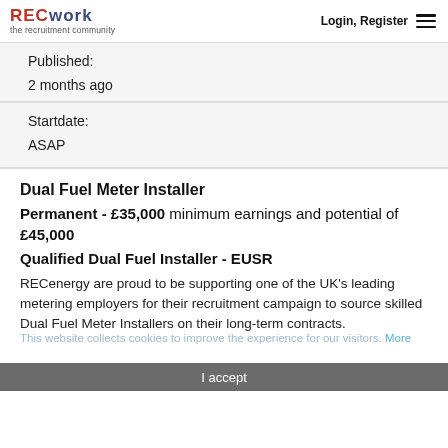RECnetwork the recruitment community | Login, Register
Published:
2 months ago
Startdate:
ASAP
Dual Fuel Meter Installer
Permanent - £35,000 minimum earnings and potential of £45,000
Qualified Dual Fuel Installer - EUSR
RECenergy are proud to be supporting one of the UK's leading metering employers for their recruitment campaign to source skilled Dual Fuel Meter Installers on their long-term contracts.
This is a direct and permanent employment position